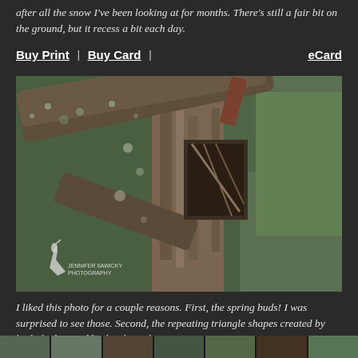after all the snow I've been looking at for months.  There's still a fair bit on the ground, but it recess a bit each day.
Buy Print  |  Buy Card  |  eCard
[Figure (photo): Close-up photograph of a broken dead tree trunk with splintered wood, lichen-spotted bark, and green conifer branches visible in the background. A small bird (woodpecker) is visible at lower left. Watermark reads 'Jennifer Sawicky Photography'.]
I liked this photo for a couple reasons.  First, the spring buds!  I was surprised to see those.  Second, the repeating triangle shapes created by both the live and broken branches.
[Figure (photo): Row of small thumbnail images at the bottom of the page.]